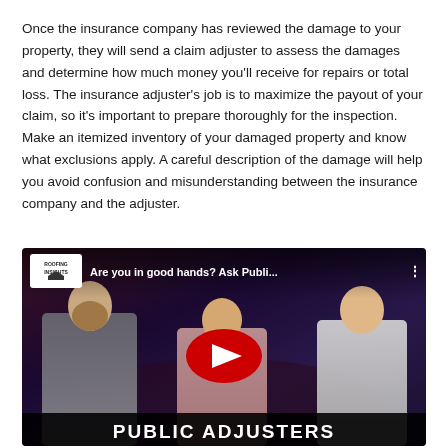Once the insurance company has reviewed the damage to your property, they will send a claim adjuster to assess the damages and determine how much money you'll receive for repairs or total loss. The insurance adjuster's job is to maximize the payout of your claim, so it's important to prepare thoroughly for the inspection. Make an itemized inventory of your damaged property and know what exclusions apply. A careful description of the damage will help you avoid confusion and misunderstanding between the insurance company and the adjuster.
[Figure (screenshot): YouTube video thumbnail showing three men seated and talking, with title 'Are you in good hands? Ask Publi...' and Roofing Insights logo, YouTube play button in center, and 'PUBLIC ADJUSTERS' text at bottom.]